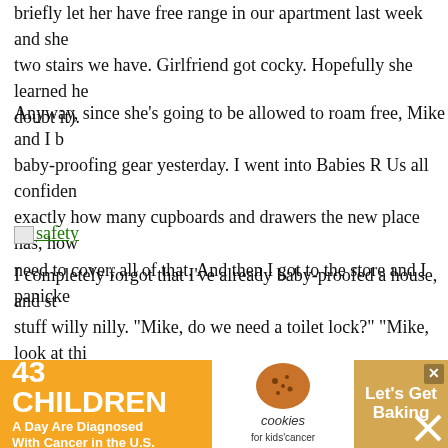briefly let her have free range in our apartment last week and she two stairs we have. Girlfriend got cocky. Hopefully she learned he doubt it).
Anyway, since she's going to be allowed to roam free, Mike and I b baby-proofing gear yesterday. I went into Babies R Us all confider exactly how many cupboards and drawers the new place has, how need to cover, all of that. And then I got to the store and I panicke
[Figure (other): Broken image icon with hyperlink labeled 'safety']
I completely forgot that I've already baby-proofed a house, and st stuff willy nilly. "Mike, do we need a toilet lock?" "Mike, look at thi cover!" Meanwhile, Mike was chasing Annie all over Babies R Us, paraphernalia out of her hands whenever she grabbed it. I had to think I failed.
I got approximately one million plug covers, a toilet lock, a few do cab more don
[Figure (infographic): Advertisement banner: '43 CHILDREN A Day Are Diagnosed With Cancer in the U.S.' with cookies for kids' cancer logo and 'Let's Get Baking' call to action]